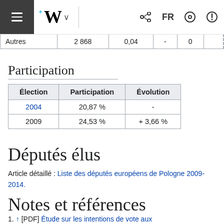Wikipedia FR navigation bar
| Autres | 2 868 | 0,04 | - | 0 |  |
Participation
| Élection | Participation | Évolution |
| --- | --- | --- |
| 2004 | 20,87 % | - |
| 2009 | 24,53 % | + 3,66 % |
Députés élus
Article détaillé : Liste des députés européens de Pologne 2009-2014.
Notes et références
1. ↑ [PDF] Étude sur les intentions de vote aux